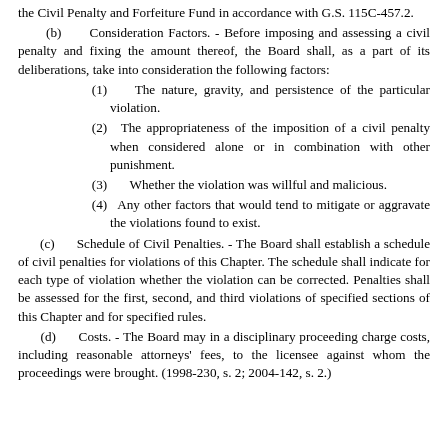the Civil Penalty and Forfeiture Fund in accordance with G.S. 115C-457.2.
(b) Consideration Factors. - Before imposing and assessing a civil penalty and fixing the amount thereof, the Board shall, as a part of its deliberations, take into consideration the following factors:
(1) The nature, gravity, and persistence of the particular violation.
(2) The appropriateness of the imposition of a civil penalty when considered alone or in combination with other punishment.
(3) Whether the violation was willful and malicious.
(4) Any other factors that would tend to mitigate or aggravate the violations found to exist.
(c) Schedule of Civil Penalties. - The Board shall establish a schedule of civil penalties for violations of this Chapter. The schedule shall indicate for each type of violation whether the violation can be corrected. Penalties shall be assessed for the first, second, and third violations of specified sections of this Chapter and for specified rules.
(d) Costs. - The Board may in a disciplinary proceeding charge costs, including reasonable attorneys' fees, to the licensee against whom the proceedings were brought. (1998-230, s. 2; 2004-142, s. 2.)